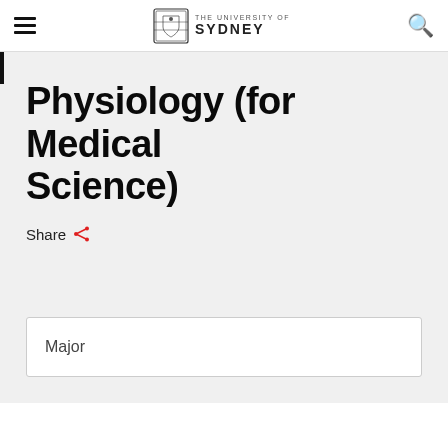THE UNIVERSITY OF SYDNEY
Physiology (for Medical Science)
Share
Major